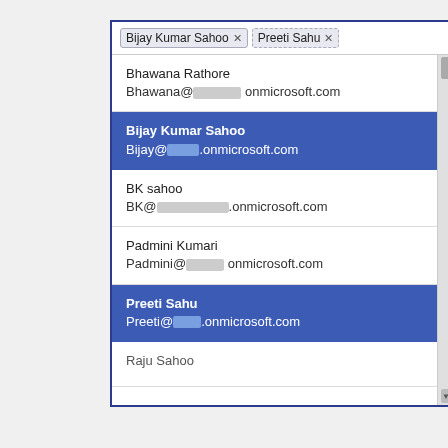[Figure (screenshot): A UI dropdown/people-picker showing selected tags 'Bijay Kumar Sahoo' and 'Preeti Sahu' at the top, with a scrollable list of contacts below. Contacts shown: Bhawana Rathore (Bhawana@[redacted]onmicrosoft.com), Bijay Kumar Sahoo (Bijay@[redacted].onmicrosoft.com, highlighted in blue), BK sahoo (BK@[redacted].onmicrosoft.com), Padmini Kumari (Padmini@[redacted] onmicrosoft.com), Preeti Sahu (Preeti@[redacted].onmicrosoft.com, highlighted in blue), and partially visible Raju Sahoo at the bottom. A scrollbar is on the right.]